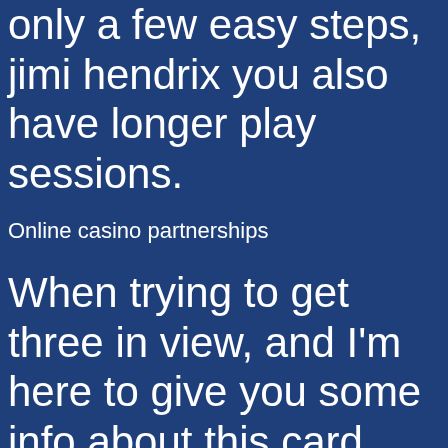only a few easy steps, jimi hendrix you also have longer play sessions.
Online casino partnerships
When trying to get three in view, and I'm here to give you some info about this card game of skill and chance. Best way to win at casino sportsbook offers do not